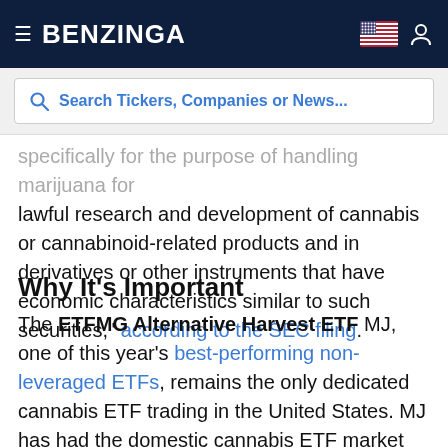BENZINGA
Search Tickers, Companies or News...
specifically for the purpose of handling marijuana for lawful research and development of cannabis or cannabinoid-related products and in derivatives or other instruments that have economic characteristics similar to such securities, according to the SEC filing.
Why It's Important
The ETFMG Alternative Harvest ETF MJ, one of this year's best-performing non-leveraged ETFs, remains the only dedicated cannabis ETF trading in the United States. MJ has had the domestic cannabis ETF market cornered due to regulatory issues surrounding the ability of custodial banks to hold marijuana equities for